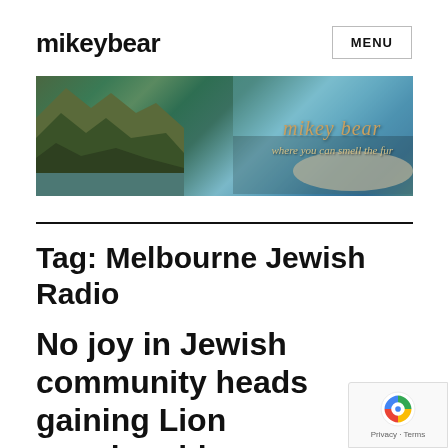mikeybear
MENU
[Figure (photo): Banner image showing coastal landscape with forest and turquoise water, with italic text overlay reading 'mikey bear – where you can smell the fur']
Tag: Melbourne Jewish Radio
No joy in Jewish community heads gaining Lion membership